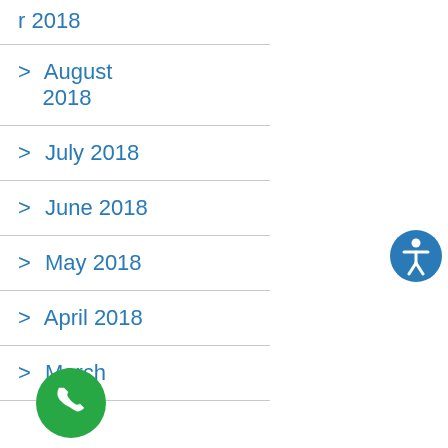r 2018
> August 2018
> July 2018
> June 2018
> May 2018
> April 2018
> March
[Figure (illustration): Blue circular accessibility icon button with white person figure in center]
[Figure (illustration): Green circular phone/call button with white phone handset icon]